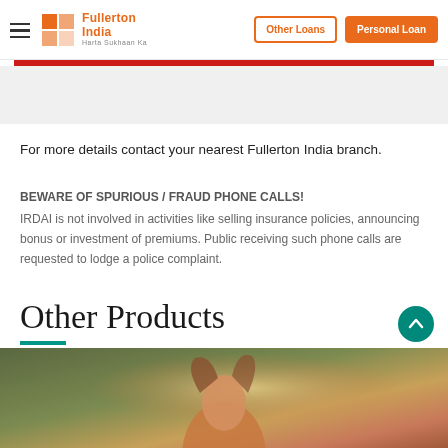Fullerton India | Other Loans | Personal Loan
For more details contact your nearest Fullerton India branch.
BEWARE OF SPURIOUS / FRAUD PHONE CALLS! IRDAI is not involved in activities like selling insurance policies, announcing bonus or investment of premiums. Public receiving such phone calls are requested to lodge a police complaint.
Other Products
[Figure (photo): Photograph of a person with eyes closed, warmly lit, olive/golden tones background]